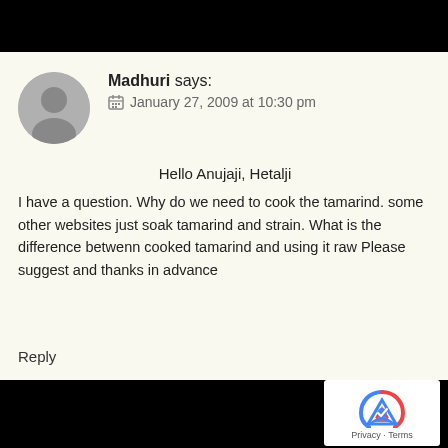Madhuri says:
📅 January 27, 2009 at 10:30 pm
Hello Anujaji, Hetalji
I have a question. Why do we need to cook the tamarind. some other websites just soak tamarind and strain. What is the difference betwenn cooked tamarind and using it raw Please suggest and thanks in advance
Reply
[Figure (logo): reCAPTCHA logo with Privacy and Terms text]